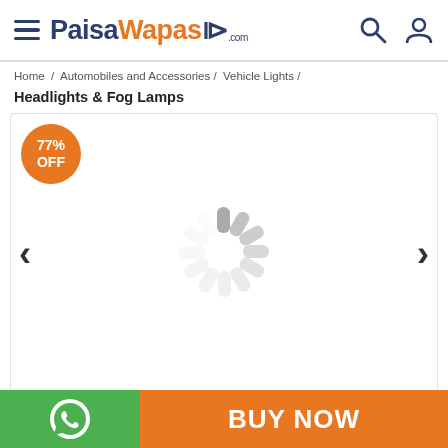PaisaWapas.com
Home / Automobiles and Accessories / Vehicle Lights /
Headlights & Fog Lamps
[Figure (screenshot): Product image area with 77% OFF badge, loading spinner, and left/right navigation arrows]
BUY NOW